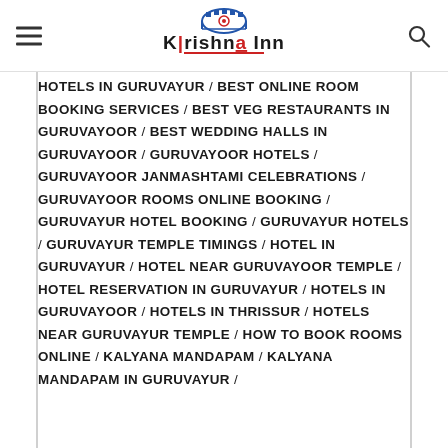Krishna Inn
HOTELS IN GURUVAYUR / BEST ONLINE ROOM BOOKING SERVICES / BEST VEG RESTAURANTS IN GURUVAYOOR / BEST WEDDING HALLS IN GURUVAYOOR / GURUVAYOOR HOTELS / GURUVAYOOR JANMASHTAMI CELEBRATIONS / GURUVAYOOR ROOMS ONLINE BOOKING / GURUVAYUR HOTEL BOOKING / GURUVAYUR HOTELS / GURUVAYUR TEMPLE TIMINGS / HOTEL IN GURUVAYUR / HOTEL NEAR GURUVAYOOR TEMPLE / HOTEL RESERVATION IN GURUVAYUR / HOTELS IN GURUVAYOOR / HOTELS IN THRISSUR / HOTELS NEAR GURUVAYUR TEMPLE / HOW TO BOOK ROOMS ONLINE / KALYANA MANDAPAM / KALYANA MANDAPAM IN GURUVAYUR /